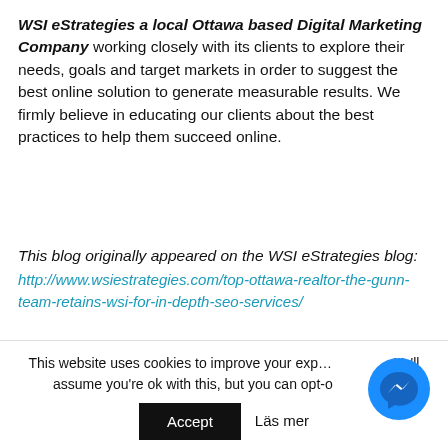WSI eStrategies a local Ottawa based Digital Marketing Company working closely with its clients to explore their needs, goals and target markets in order to suggest the best online solution to generate measurable results. We firmly believe in educating our clients about the best practices to help them succeed online.
This blog originally appeared on the WSI eStrategies blog: http://www.wsiestrategies.com/top-ottawa-realtor-the-gunn-team-retains-wsi-for-in-depth-seo-services/
Trackback (0) | Permalink
WSI Implements SEO for Fremont
This website uses cookies to improve your experience. We'll assume you're ok with this, but you can opt-out.